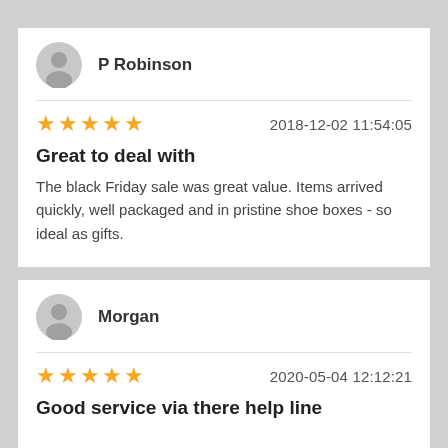P Robinson
★★★★★   2018-12-02 11:54:05
Great to deal with
The black Friday sale was great value. Items arrived quickly, well packaged and in pristine shoe boxes - so ideal as gifts.
Morgan
★★★★★   2020-05-04 12:12:21
Good service via there help line